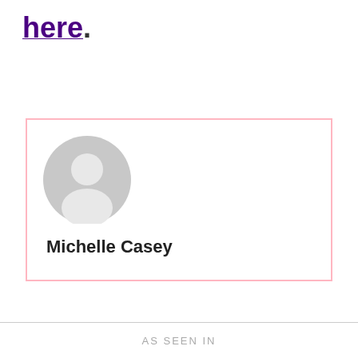here.
[Figure (illustration): Profile card with a generic grey avatar icon and the name Michelle Casey in bold beneath it. The card has a pink border.]
AS SEEN IN